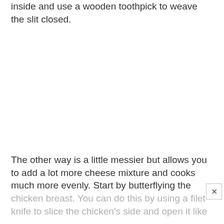inside and use a wooden toothpick to weave the slit closed.
The other way is a little messier but allows you to add a lot more cheese mixture and cooks much more evenly. Start by butterflying the chicken breast. You can do this by using a filet knife to slice the chicken's side and open it like